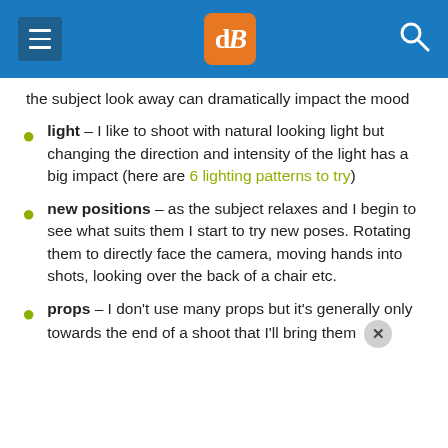dPS (digital photography school)
the subject look away can dramatically impact the mood
light – I like to shoot with natural looking light but changing the direction and intensity of the light has a big impact (here are 6 lighting patterns to try)
new positions – as the subject relaxes and I begin to see what suits them I start to try new poses. Rotating them to directly face the camera, moving hands into shots, looking over the back of a chair etc.
props – I don't use many props but it's generally only towards the end of a shoot that I'll bring them